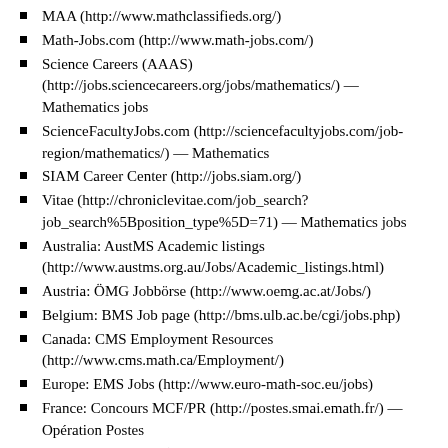MAA (http://www.mathclassifieds.org/)
Math-Jobs.com (http://www.math-jobs.com/)
Science Careers (AAAS) (http://jobs.sciencecareers.org/jobs/mathematics/) — Mathematics jobs
ScienceFacultyJobs.com (http://sciencefacultyjobs.com/job-region/mathematics/) — Mathematics
SIAM Career Center (http://jobs.siam.org/)
Vitae (http://chroniclevitae.com/job_search?job_search%5Bposition_type%5D=71) — Mathematics jobs
Australia: AustMS Academic listings (http://www.austms.org.au/Jobs/Academic_listings.html)
Austria: ÖMG Jobbörse (http://www.oemg.ac.at/Jobs/)
Belgium: BMS Job page (http://bms.ulb.ac.be/cgi/jobs.php)
Canada: CMS Employment Resources (http://www.cms.math.ca/Employment/)
Europe: EMS Jobs (http://www.euro-math-soc.eu/jobs)
France: Concours MCF/PR (http://postes.smai.emath.fr/) — Opération Postes
Germany: Careerjet (http://www.careerjet.de/mathematics-jobs.html) — mathematics
Ireland: Irish Mathematical Society (http://www.maths.tcd.ie/pub/ims/jobs-ie/) — jobs-ie
Israel: Israel Mathematical Union (http://imu.org.il/inq-offers.html)